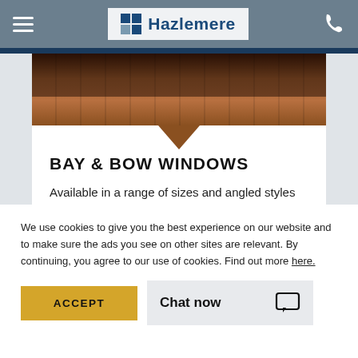Hazlemere
[Figure (photo): Brick wall exterior of a building with plants]
BAY & BOW WINDOWS
Available in a range of sizes and angled styles along with a host of colours and woodgrain effects to complement your
We use cookies to give you the best experience on our website and to make sure the ads you see on other sites are relevant. By continuing, you agree to our use of cookies. Find out more here.
ACCEPT
Chat now